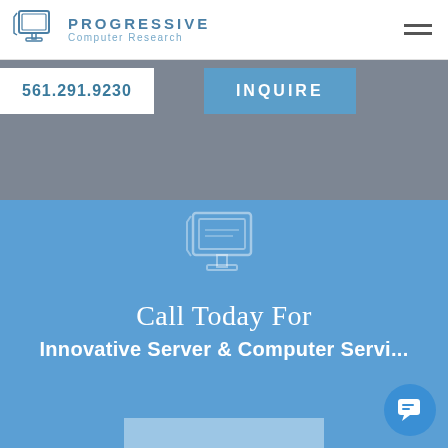PROGRESSIVE Computer Research
561.291.9230
INQUIRE
[Figure (illustration): Computer monitor icon outline in light gray/blue on blue background]
Call Today For Innovative Server & Computer Services